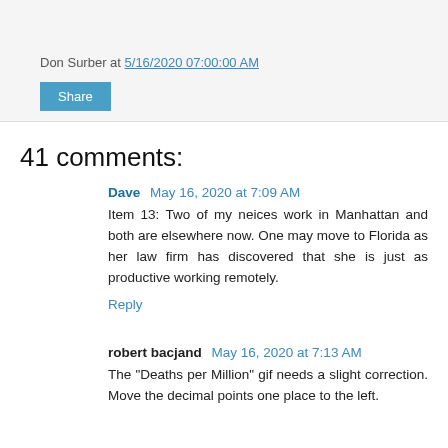Don Surber at 5/16/2020 07:00:00 AM
Share
41 comments:
Dave May 16, 2020 at 7:09 AM
Item 13: Two of my neices work in Manhattan and both are elsewhere now. One may move to Florida as her law firm has discovered that she is just as productive working remotely.
Reply
robert bacjand May 16, 2020 at 7:13 AM
The "Deaths per Million" gif needs a slight correction. Move the decimal points one place to the left.